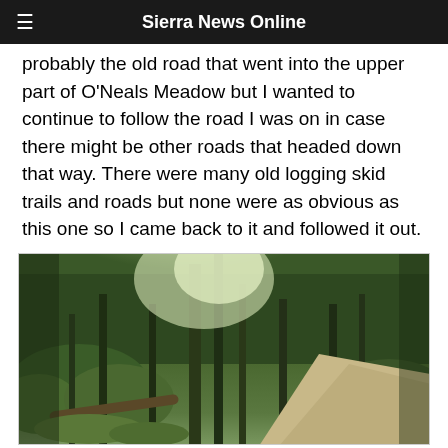Sierra News Online
probably the old road that went into the upper part of O'Neals Meadow but I wanted to continue to follow the road I was on in case there might be other roads that headed down that way. There were many old logging skid trails and roads but none were as obvious as this one so I came back to it and followed it out.
[Figure (photo): A forest scene with tall trees, dappled light filtering through the canopy, dense green undergrowth, and a dirt road visible on the right side of the image. A fallen log lies on the ground in the lower left area.]